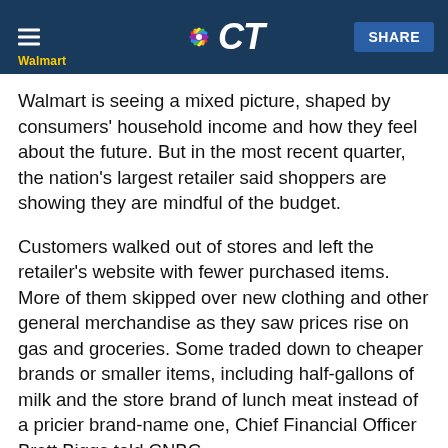NBC CT — Walmart
Walmart is seeing a mixed picture, shaped by consumers' household income and how they feel about the future. But in the most recent quarter, the nation's largest retailer said shoppers are showing they are mindful of the budget.
Customers walked out of stores and left the retailer's website with fewer purchased items. More of them skipped over new clothing and other general merchandise as they saw prices rise on gas and groceries. Some traded down to cheaper brands or smaller items, including half-gallons of milk and the store brand of lunch meat instead of a pricier brand-name one, Chief Financial Officer Brett Biggs told CNBC.